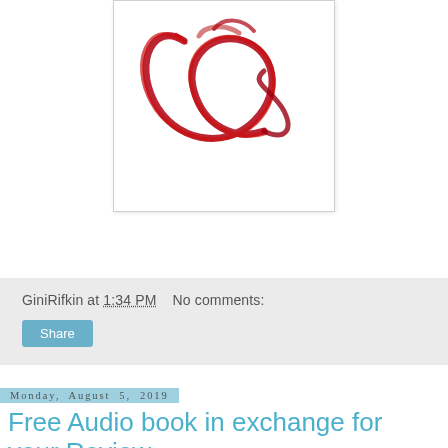[Figure (illustration): Stylized red alpha or infinity-like symbol brush stroke on white background, with a decorative pen/brush stroke design in red]
GiniRifkin at 1:34 PM    No comments:
Share
Monday, August 5, 2019
Free Audio book in exchange for your Review